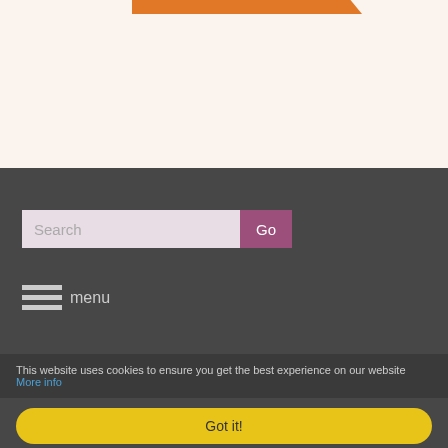[Figure (illustration): Orange/brown banner shape at the top of a cream/beige background section]
Search
Go
[Figure (illustration): Hamburger menu icon (three horizontal lines) with 'menu' text beside it]
CONNECT WITH US
This website uses cookies to ensure you get the best experience on our website More info
Got it!